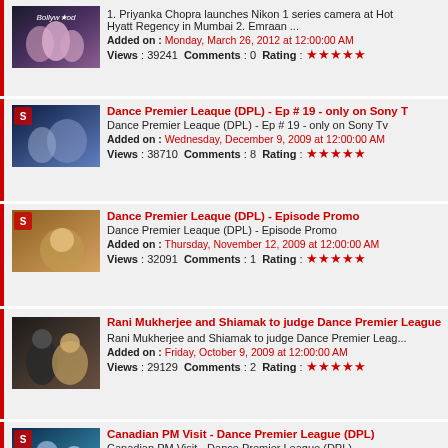1. Priyanka Chopra launches Nikon 1 series camera at Hot Hyatt Regency in Mumbai 2. Emraan ... | Added on: Monday, March 26, 2012 at 12:00:00 AM | Views: 39241 Comments: 0 Rating: 5 stars
Dance Premier Leaque (DPL) - Ep # 19 - only on Sony T | Dance Premier Leaque (DPL) - Ep # 19 - only on Sony Tv | Added on: Wednesday, December 9, 2009 at 12:00:00 AM | Views: 38710 Comments: 8 Rating: 5 stars
Dance Premier Leaque (DPL) - Episode Promo | Dance Premier Leaque (DPL) - Episode Promo | Added on: Thursday, November 12, 2009 at 12:00:00 AM | Views: 32091 Comments: 1 Rating: 5 stars
Rani Mukherjee and Shiamak to judge Dance Premier League | Rani Mukherjee and Shiamak to judge Dance Premier Leag... | Added on: Friday, October 9, 2009 at 12:00:00 AM | Views: 29129 Comments: 2 Rating: 5 stars
Canadian PM Visit - Dance Premier League (DPL) | Canadian PM Visit - Dance Premier League (DPL) | Added on: Friday, November 20, 2009 at 12:00:00 AM | Views: 28515 Comments: 6 Rating: 5 stars